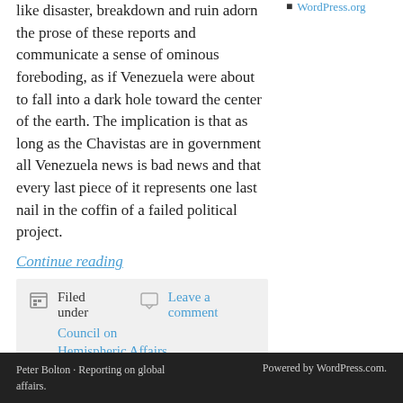like disaster, breakdown and ruin adorn the prose of these reports and communicate a sense of ominous foreboding, as if Venezuela were about to fall into a dark hole toward the center of the earth. The implication is that as long as the Chavistas are in government all Venezuela news is bad news and that every last piece of it represents one last nail in the coffin of a failed political project.
Continue reading
WordPress.org
Filed under   Leave a comment   Council on Hemispheric Affairs
Peter Bolton · Reporting on global affairs.   Powered by WordPress.com.